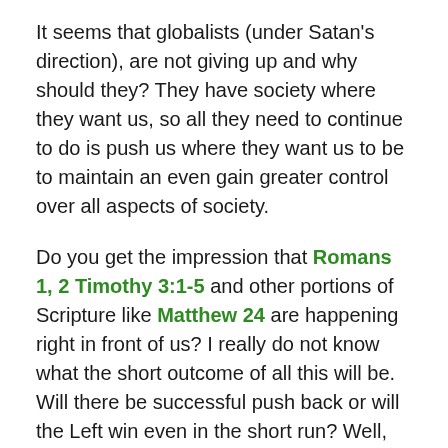It seems that globalists (under Satan's direction), are not giving up and why should they? They have society where they want us, so all they need to continue to do is push us where they want us to be to maintain an even gain greater control over all aspects of society.
Do you get the impression that Romans 1, 2 Timothy 3:1-5 and other portions of Scripture like Matthew 24 are happening right in front of us? I really do not know what the short outcome of all this will be. Will there be successful push back or will the Left win even in the short run? Well, obviously things are getting dicey and we know where things will ultimately end up because it has been clearly revealed in many portions of God's Word. It's simply a matter of God's timing.
The best advice I could give anyone is to get and stay